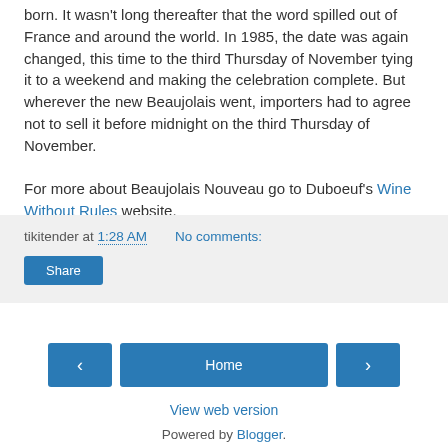born. It wasn't long thereafter that the word spilled out of France and around the world. In 1985, the date was again changed, this time to the third Thursday of November tying it to a weekend and making the celebration complete. But wherever the new Beaujolais went, importers had to agree not to sell it before midnight on the third Thursday of November.
For more about Beaujolais Nouveau go to Duboeuf's Wine Without Rules website.
tikitender at 1:28 AM   No comments:
Share
‹
Home
›
View web version
Powered by Blogger.